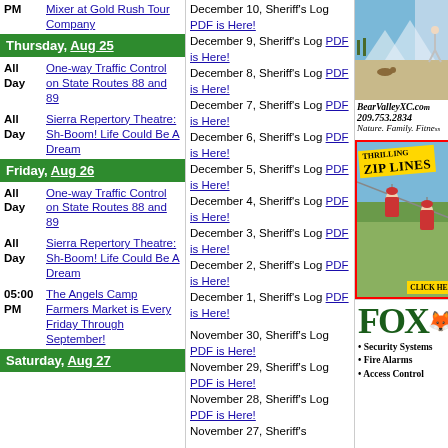PM - Mixer at Gold Rush Tour Company
Thursday, Aug 25
All Day - One-way Traffic Control on State Routes 88 and 89
All Day - Sierra Repertory Theatre: Sh-Boom! Life Could Be A Dream
Friday, Aug 26
All Day - One-way Traffic Control on State Routes 88 and 89
All Day - Sierra Repertory Theatre: Sh-Boom! Life Could Be A Dream
05:00 PM - The Angels Camp Farmers Market is Every Friday Through September!
Saturday, Aug 27
December 10, Sheriff's Log PDF is Here!
December 9, Sheriff's Log PDF is Here!
December 8, Sheriff's Log PDF is Here!
December 7, Sheriff's Log PDF is Here!
December 6, Sheriff's Log PDF is Here!
December 5, Sheriff's Log PDF is Here!
December 4, Sheriff's Log PDF is Here!
December 3, Sheriff's Log PDF is Here!
December 2, Sheriff's Log PDF is Here!
December 1, Sheriff's Log PDF is Here!
November 30, Sheriff's Log PDF is Here!
November 29, Sheriff's Log PDF is Here!
November 28, Sheriff's Log PDF is Here!
November 27, Sheriff's Log PDF is Here!
[Figure (photo): Bear Valley XC ski resort photo with skiing scenes]
BearValleyXC.co 209.753.2834 Nature. Family. Fitne
[Figure (photo): Thrilling ZIP LINES advertisement with people zip-lining, CLICK HERE button]
[Figure (logo): FOX Security Systems logo with fox silhouette]
• Security Systems
• Fire Alarms
• Access Control